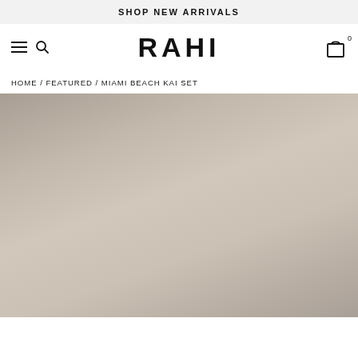SHOP NEW ARRIVALS
RAHI
HOME / FEATURED / MIAMI BEACH KAI SET
[Figure (photo): Product photo area showing a muted taupe/beige gradient background, presumably a fashion product photo for the Miami Beach Kai Set.]